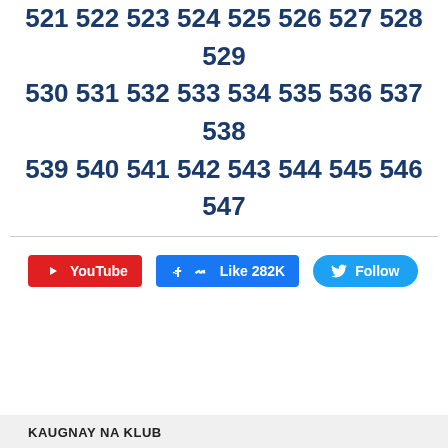521 522 523 524 525 526 527 528 529 530 531 532 533 534 535 536 537 538 539 540 541 542 543 544 545 546 547
[Figure (other): Social media buttons: YouTube, Facebook Like 282K, Twitter Follow]
KAUGNAY NA KLUB